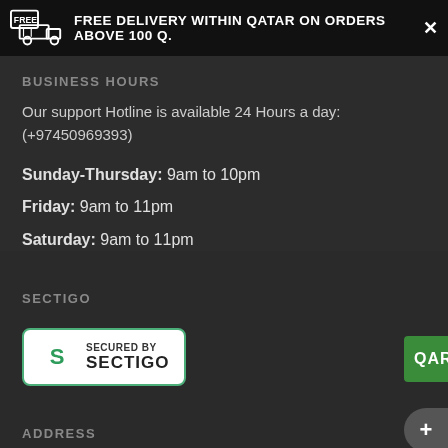FREE DELIVERY WITHIN QATAR ON ORDERS ABOVE 100 Q. ✕
BUSINESS HOURS
Our support Hotline is available 24 Hours a day: (+97450969393)
Sunday-Thursday: 9am to 10pm
Friday: 9am to 11pm
Saturday: 9am to 11pm
SECTIGO
[Figure (logo): Secured by Sectigo badge with green S logo]
ADDRESS